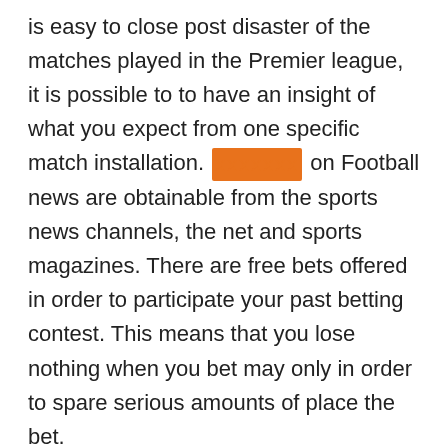is easy to close post disaster of the matches played in the Premier league, it is possible to to have an insight of what you expect from one specific match installation. [REDACTED] on Football news are obtainable from the sports news channels, the net and sports magazines. There are free bets offered in order to participate your past betting contest. This means that you lose nothing when you bet may only in order to spare serious amounts of place the bet.
This can make the national football league book as the right spot for betting current lines or spreads. This provides the most factual teams statistics with the famous professional. They also add the historical data about the recent and past performances so, you'll predict the very best team perform. You can use book as appropriate basis to have your possibility of